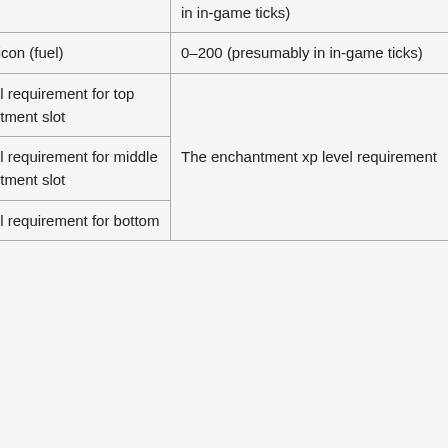|  |  | Property | Description |
| --- | --- | --- | --- |
| Furnace |  | arrow | in in-game ticks) |
|  |  | 1: Fire icon (fuel) | 0–200 (presumably in in-game ticks) |
|  |  | 0: Level requirement for top enchantment slot | The enchantment xp level requirement |
|  |  | 1: Level requirement for middle enchantment slot | The enchantment xp level requirement |
|  |  | 2: Level requirement for bottom |  |